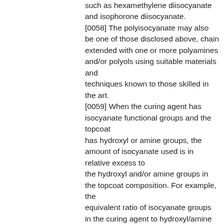such as hexamethylene diisocyanate and isophorone diisocyanate. [0058] The polyisocyanate may also be one of those disclosed above, chain extended with one or more polyamines and/or polyols using suitable materials and techniques known to those skilled in the art. [0059] When the curing agent has isocyanate functional groups and the topcoat has hydroxyl or amine groups, the amount of isocyanate used is in relative excess to the hydroxyl and/or amine groups in the topcoat composition. For example, the equivalent ratio of isocyanate groups in the curing agent to hydroxyl/amine groups is greater than 1 to 1 (i.e. > 1 :1). Thus isocyanate is in stoichiometric excess. In particularly suitable embodiments, when the functional component (a) of topcoat (2) comprises hydroxyl groups, the NCO:OH may be 1.1 to 2.0:1, such as 1.1 to 1.7:1, or 1.3 to 1.7:1, or 1.5 to 1.7:1. In other particularly suitable embodiments, when the